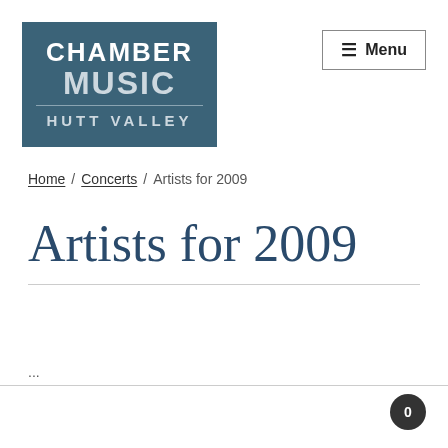[Figure (logo): Chamber Music Hutt Valley logo - teal/dark blue square with white bold text reading CHAMBER MUSIC HUTT VALLEY]
≡ Menu
Home / Concerts / Artists for 2009
Artists for 2009
0